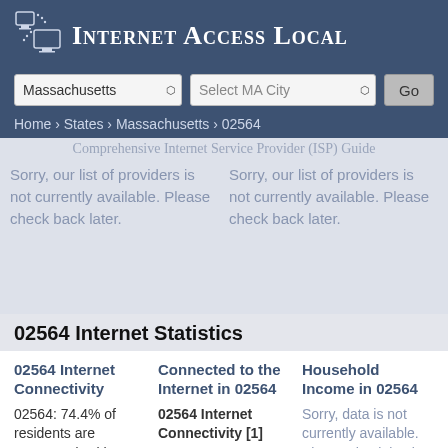Internet Access Local
Massachusetts | Select MA City | Go
Home › States › Massachusetts › 02564
Comprehensive Internet Service Provider (ISP) Guide
Sorry, our list of providers is not currently available. Please check back later.
Sorry, our list of providers is not currently available. Please check back later.
02564 Internet Statistics
02564 Internet Connectivity
02564: 74.4% of residents are connected, with 28.9% of the population
Connected to the Internet in 02564
02564 Internet Connectivity [1]
Household Income in 02564
Sorry, data is not currently available. Please check back later.